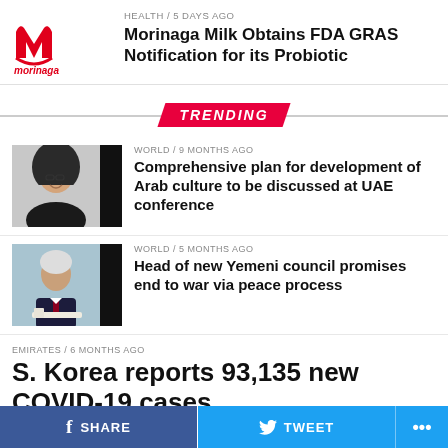[Figure (logo): Morinaga red logo with stylized M and 'morinaga' text]
HEALTH / 5 days ago
Morinaga Milk Obtains FDA GRAS Notification for its Probiotic
TRENDING
[Figure (photo): Woman in hijab smiling, with black bar on right]
WORLD / 9 months ago
Comprehensive plan for development of Arab culture to be discussed at UAE conference
[Figure (photo): Elderly man at podium, with black bar on right]
WORLD / 5 months ago
Head of new Yemeni council promises end to war via peace process
EMIRATES / 6 months ago
S. Korea reports 93,135 new COVID-19 cases
SHARE   TWEET   ...